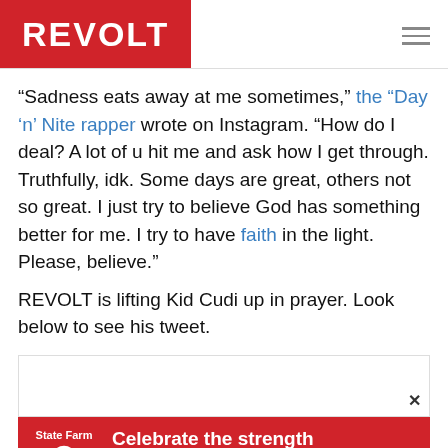REVOLT
“Sadness eats away at me sometimes,” the “Day ‘n’ Nite rapper wrote on Instagram. “How do I deal? A lot of u hit me and ask how I get through. Truthfully, idk. Some days are great, others not so great. I just try to believe God has something better for me. I try to have faith in the light. Please, believe.”
REVOLT is lifting Kid Cudi up in prayer. Look below to see his tweet.
[Figure (screenshot): Embedded tweet box (white rectangle with close button)]
[Figure (infographic): State Farm advertisement: red background with State Farm logo and text 'Celebrate the strength of Black communities.']
Advertisement